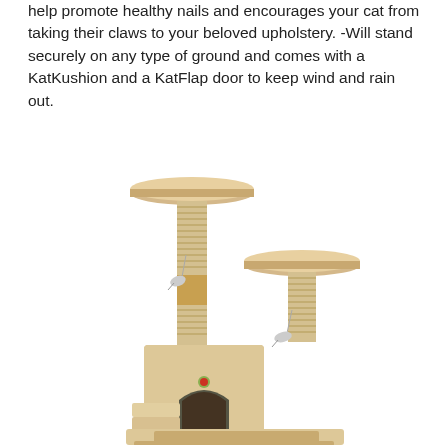help promote healthy nails and encourages your cat from taking their claws to your beloved upholstery. -Will stand securely on any type of ground and comes with a KatKushion and a KatFlap door to keep wind and rain out.
[Figure (photo): A beige/tan cat tree with multiple levels: a top platform on a tall sisal-wrapped post with a hanging toy mouse, a second round platform on a shorter sisal post also with a hanging toy, a central cube house with an arched entrance, steps, and a wide base platform. The structure is covered in plush beige fabric.]